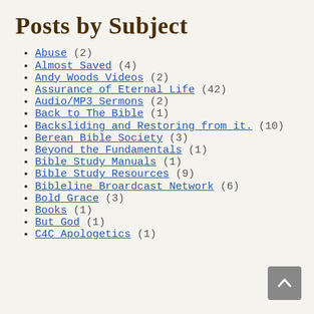Posts by Subject
Abuse (2)
Almost Saved (4)
Andy Woods Videos (2)
Assurance of Eternal Life (42)
Audio/MP3 Sermons (2)
Back to The Bible (1)
Backsliding and Restoring from it. (10)
Berean Bible Society (3)
Beyond the Fundamentals (1)
Bible Study Manuals (1)
Bible Study Resources (9)
Bibleline Broardcast Network (6)
Bold Grace (3)
Books (1)
But God (1)
C4C Apologetics (1)